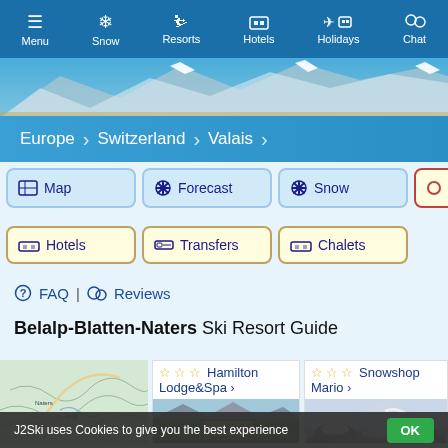Menu | Snow | Resorts | Hotels | Holidays | Chat
[Figure (photo): Mountain landscape with snow and blue sky]
Europe > Switzerland > Valais
Map | Forecast | Snow | Ski Hire | Hotels | Transfers | Chalets
FAQ | Reviews
Belalp-Blatten-Naters Ski Resort Guide
[Figure (map): Topographic map showing Belalp-Blatten-Naters area]
[Figure (photo): Hamilton Lodge & Spa - lodge building with mountain backdrop]
[Figure (photo): Snowshop Mario - rocky snowy landscape]
J2Ski uses Cookies to give you the best experience